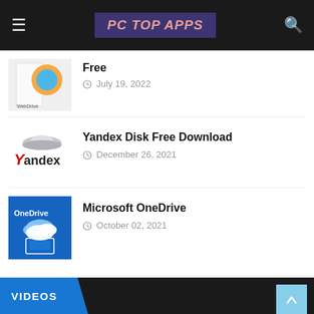PC TOP APPs
Free
July 19, 2022
Yandex Disk Free Download
December 26, 2021
Microsoft OneDrive
October 02, 2021
VIDEOS